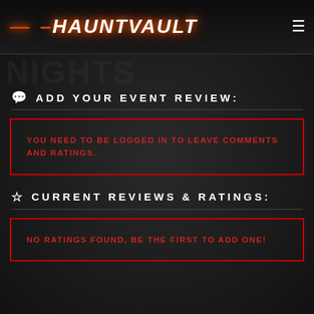HAUNTVAULT
💬 ADD YOUR EVENT REVIEW:
YOU NEED TO BE LOGGED IN TO LEAVE COMMENTS AND RATINGS.
☆ CURRENT REVIEWS & RATINGS:
NO RATINGS FOUND, BE THE FIRST TO ADD ONE!